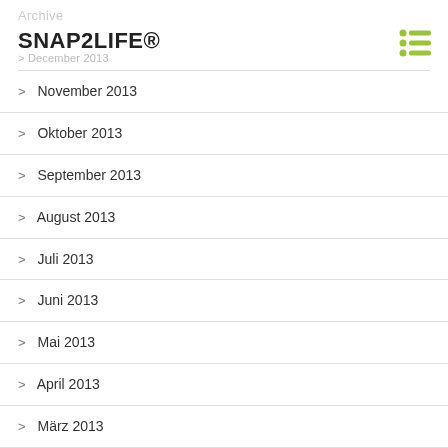SNAP2LIFE®
November 2013
Oktober 2013
September 2013
August 2013
Juli 2013
Juni 2013
Mai 2013
April 2013
März 2013
Februar 2013
Januar 2013